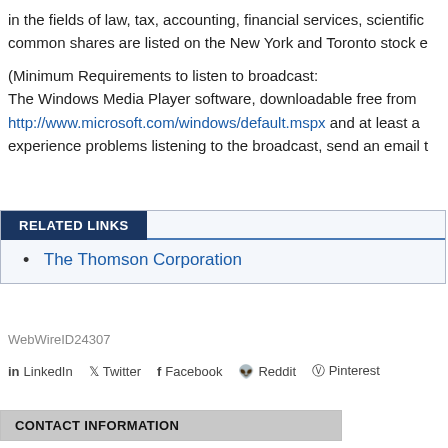in the fields of law, tax, accounting, financial services, scientific common shares are listed on the New York and Toronto stock e
(Minimum Requirements to listen to broadcast:
The Windows Media Player software, downloadable free from http://www.microsoft.com/windows/default.mspx and at least a experience problems listening to the broadcast, send an email t
RELATED LINKS
The Thomson Corporation
WebWireID24307
LinkedIn  Twitter  Facebook  Reddit  Pinterest
CONTACT INFORMATION